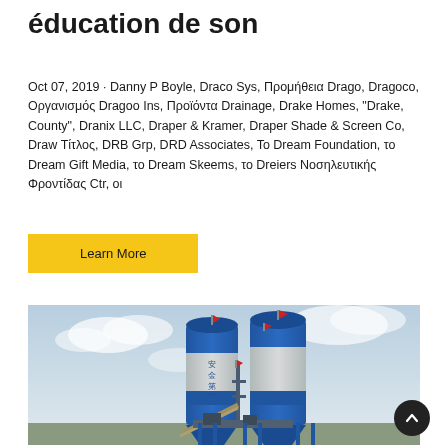éducation de son
Oct 07, 2019 · Danny P Boyle, Draco Sys, Προμήθεια Drago, Dragoco, Οργανισμός Dragoo Ins, Προϊόντα Drainage, Drake Homes, "Drake, County", Dranix LLC, Draper & Kramer, Draper Shade & Screen Co, Draw Τίτλος, DRB Grp, DRD Associates, To Dream Foundation, το Dream Gift Media, το Dream Skeems, το Dreiers Νοσηλευτικής Φροντίδας Ctr, οι
Learn More
[Figure (photo): Industrial concrete mixing plant with two large blue and white cylindrical silos marked with Chinese characters (安全第一), red flags on top, and metal framework/conveyor equipment below, against a cloudy sky background.]